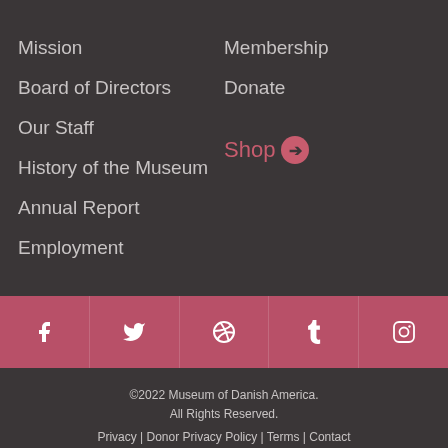Mission
Board of Directors
Our Staff
History of the Museum
Annual Report
Employment
Membership
Donate
Shop →
[Figure (infographic): Social media icon bar with Facebook, Twitter, Pinterest, Tumblr, and Instagram icons on a rose/mauve background]
©2022 Museum of Danish America. All Rights Reserved. Privacy | Donor Privacy Policy | Terms | Contact Website by Applied Art & Technology